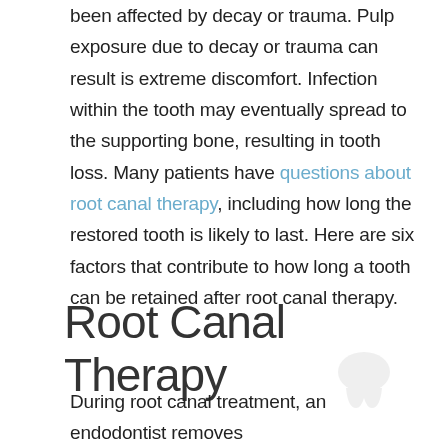been affected by decay or trauma. Pulp exposure due to decay or trauma can result is extreme discomfort. Infection within the tooth may eventually spread to the supporting bone, resulting in tooth loss. Many patients have questions about root canal therapy, including how long the restored tooth is likely to last. Here are six factors that contribute to how long a tooth can be retained after root canal therapy.
Root Canal Therapy
During root canal treatment, an endodontist removes the diseased pulp tissue. He or she cleans out the